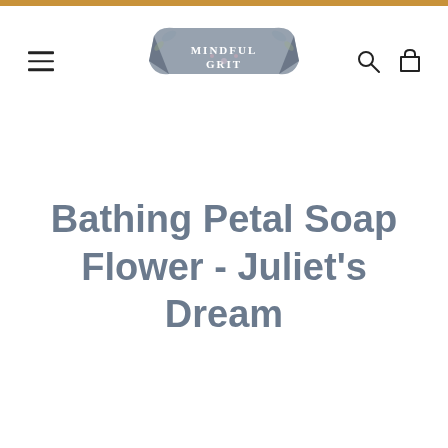[Figure (logo): Mindful Grit logo with decorative floral banner design in muted blue/grey tones]
Bathing Petal Soap Flower - Juliet's Dream